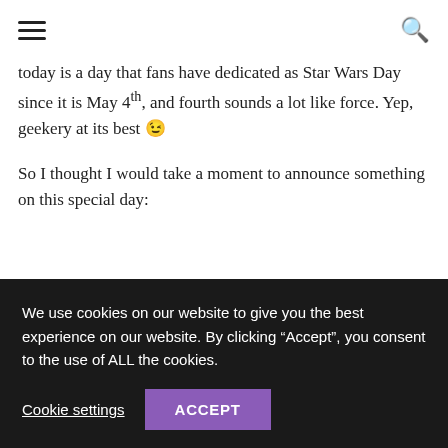☰ 🔍
today is a day that fans have dedicated as Star Wars Day since it is May 4th, and fourth sounds a lot like force. Yep, geekery at its best 😉
So I thought I would take a moment to announce something on this special day:
[Figure (other): Media error: Format(s) not supported or]
We use cookies on our website to give you the best experience on our website. By clicking "Accept", you consent to the use of ALL the cookies.
Cookie settings  ACCEPT